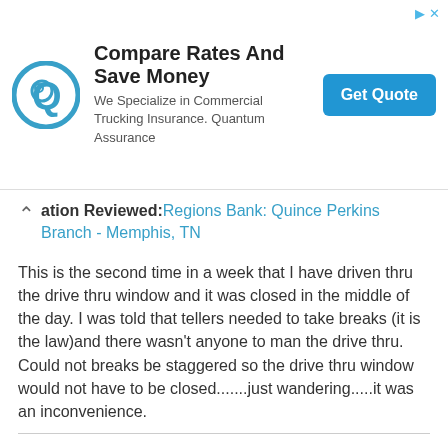[Figure (other): Advertisement banner: Compare Rates And Save Money - We Specialize in Commercial Trucking Insurance. Quantum Assurance. Get Quote button.]
Location Reviewed: Regions Bank: Quince Perkins Branch - Memphis, TN
This is the second time in a week that I have driven thru the drive thru window and it was closed in the middle of the day. I was told that tellers needed to take breaks (it is the law)and there wasn't anyone to man the drive thru. Could not breaks be staggered so the drive thru window would not have to be closed.......just wandering.....it was an inconvenience.
Reviewer: teresa de dillon
Date: Aug. 2, 2017
Location Reviewed: Regions Bank: Ponce De Leon Branch - Coral Gables, FL
May I contact with somebody speaks spanish?